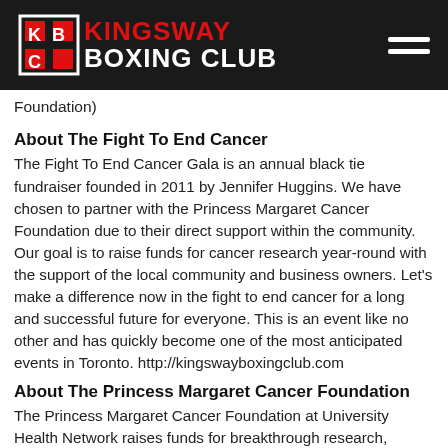[Figure (logo): Kingsway Boxing Club logo with KBC icon, white and red text on black header background, hamburger menu icon top right]
Foundation)
About The Fight To End Cancer
The Fight To End Cancer Gala is an annual black tie fundraiser founded in 2011 by Jennifer Huggins. We have chosen to partner with the Princess Margaret Cancer Foundation due to their direct support within the community. Our goal is to raise funds for cancer research year-round with the support of the local community and business owners. Let’s make a difference now in the fight to end cancer for a long and successful future for everyone. This is an event like no other and has quickly become one of the most anticipated events in Toronto. http://kingswayboxingclub.com
About The Princess Margaret Cancer Foundation
The Princess Margaret Cancer Foundation at University Health Network raises funds for breakthrough research, exemplary teaching and compassionate care at Princess Margaret Hospital and its research arm, the Ontario Cancer Institute,